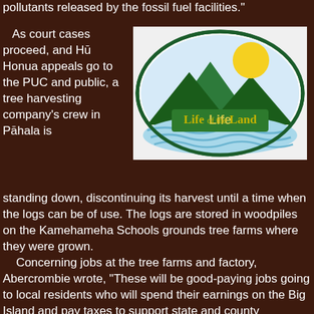pollutants released by the fossil fuel facilities."
As court cases proceed, and Hū Honua appeals go to the PUC and public, a tree harvesting company's crew in Pāhala is standing down, discontinuing its harvest until a time when the logs can be of use. The logs are stored in woodpiles on the Kamehameha Schools grounds tree farms where they were grown.
[Figure (logo): Life of the Land logo — oval shape with dark green mountains, yellow sun, and blue waves, with text 'Life of the Land' in yellow-green]
Concerning jobs at the tree farms and factory, Abercrombie wrote, "These will be good-paying jobs going to local residents who will spend their earnings on the Big Island and pay taxes to support state and county government initiatives."
The former governors' joint statement says they "strongly